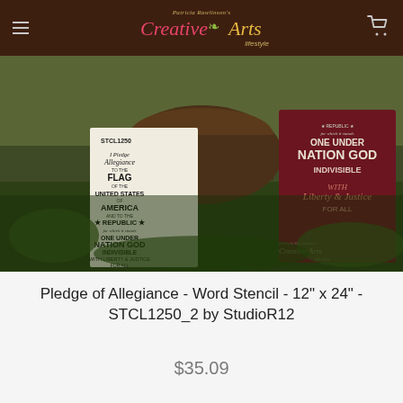Patricia Rawlinson's Creative Arts lifestyle
[Figure (photo): Product photo showing two Pledge of Allegiance word stencils — one printed on white paper (labeled STCL1250) and one painted on a dark red/maroon wooden board, both photographed outdoors on green moss/grass with a decorative planter in the background. The stencil reads the full Pledge of Allegiance text. The Creative Arts lifestyle logo watermark appears in the lower right corner.]
Pledge of Allegiance - Word Stencil - 12" x 24" - STCL1250_2 by StudioR12
$35.09